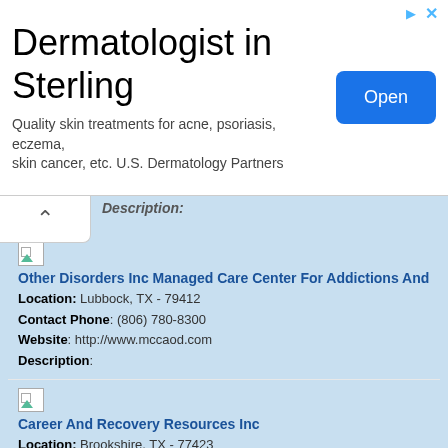[Figure (screenshot): Advertisement banner for Dermatologist in Sterling. Title: 'Dermatologist in Sterling'. Description: 'Quality skin treatments for acne, psoriasis, eczema, skin cancer, etc. U.S. Dermatology Partners'. Button: 'Open'.]
Description:
Other Disorders Inc Managed Care Center For Addictions And
Location: Lubbock, TX - 79412
Contact Phone: (806) 780-8300
Website: http://www.mccaod.com
Description:
Career And Recovery Resources Inc
Location: Brookshire, TX - 77423
Contact Phone: (713) 754-7005
Website: http://www.careerandrecovery.org/ie/
Description:
Galveston Recovery Program
Location: Galveston, TX - 77550-2490
Contact Phone: (409) 762-5935
Website: http://www.gcmhmr.com
Description: